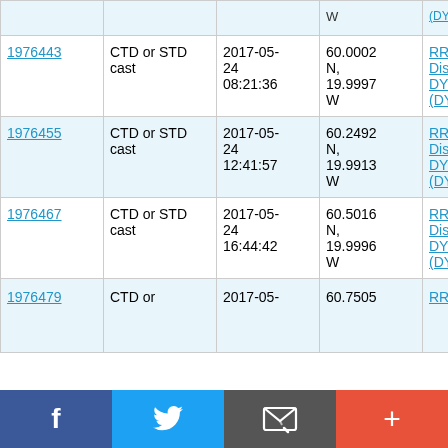| ID | Type | Date/Time | Location | Cruise |
| --- | --- | --- | --- | --- |
| 1976443 | CTD or STD cast | 2017-05-24 08:21:36 | 60.0002 N, 19.9997 W | RRS Discovery DY078 (DY079) |
| 1976455 | CTD or STD cast | 2017-05-24 12:41:57 | 60.2492 N, 19.9913 W | RRS Discovery DY078 (DY079) |
| 1976467 | CTD or STD cast | 2017-05-24 16:44:42 | 60.5016 N, 19.9996 W | RRS Discovery DY078 (DY079) |
| 1976479 | CTD or STD cast | 2017-05-24 ... | 60.7505 ... | RRS ... |